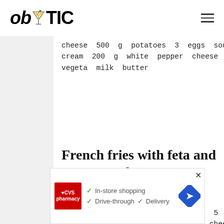ob TIC (logo with cocktail icon and hamburger menu)
cheese 500 g potatoes 3 eggs sour cream 200 g white pepper cheese a little vegeta milk butter
French fries with feta and cheese
Meals, Meals with potatoes 1, 5 kg potatoes, 500 g feta, 400 g cheese, 7 boiled eggs, margarine for greased tray,
[Figure (other): CVS Pharmacy advertisement banner with checkmarks for In-store shopping, Drive-through, and Delivery, plus a navigation arrow icon]